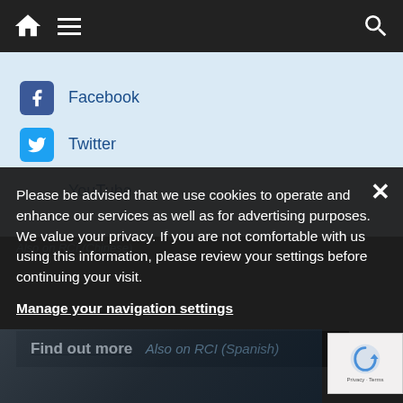[Figure (screenshot): Navigation bar with home icon, hamburger menu, and search icon on dark background]
Facebook
Twitter
YouTube
Please be advised that we use cookies to operate and enhance our services as well as for advertising purposes. We value your privacy. If you are not comfortable with us using this information, please review your settings before continuing your visit.
Manage your navigation settings
Find out more
Also on RCI (Spanish)